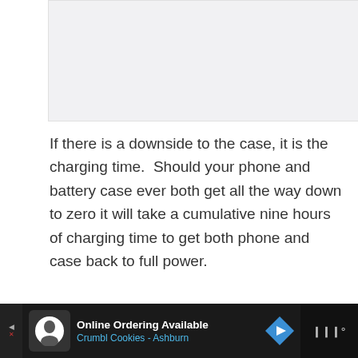[Figure (photo): Image area at top of page (partially visible/cropped photo)]
If there is a downside to the case, it is the charging time.  Should your phone and battery case ever both get all the way down to zero it will take a cumulative nine hours of charging time to get both phone and case back to full power.
Buy it now: Amazon
[Figure (infographic): Advertisement banner: Online Ordering Available, Crumbl Cookies - Ashburn, with navigation arrow icon and logo]